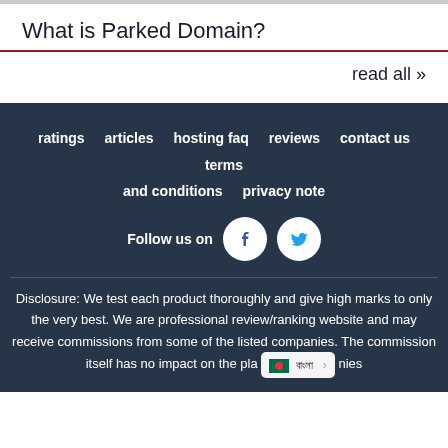What is Parked Domain?
read all »
ratings   articles   hosting faq   reviews   contact us   terms and conditions   privacy note
Follow us on
Disclosure: We test each product thoroughly and give high marks to only the very best. We are professional review/ranking website and may receive commissions from some of the listed companies. The commission itself has no impact on the pla... nies